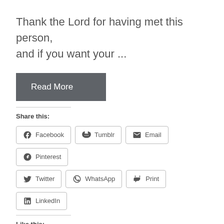Thank the Lord for having met this person, and if you want your ...
[Figure (other): Read More button — dark grey rectangular button with white text]
Share this:
[Figure (other): Share buttons row 1: Facebook, Tumblr, Email, Pinterest]
[Figure (other): Share buttons row 2: Twitter, WhatsApp, Print, LinkedIn]
Like this:
Loading...